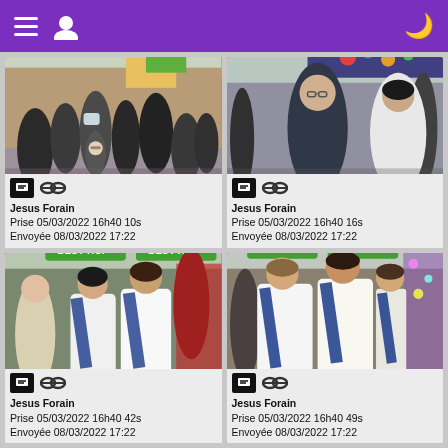Navigation header with menu, avatar, and moon/dark-mode icon
[Figure (photo): Crowd of people at a fairground market, child with glasses in foreground, colorful stalls]
Jesus Forain
Prise 05/03/2022 16h40 10s
Envoyée 08/03/2022 17:22
[Figure (photo): Man and woman walking at a fairground, colorful merchandise stalls in background]
Jesus Forain
Prise 05/03/2022 16h40 16s
Envoyée 08/03/2022 17:22
[Figure (photo): Young women in white dresses and sashes walking at a fairground, BEST HOP sign in background]
Jesus Forain
Prise 05/03/2022 16h40 42s
Envoyée 08/03/2022 17:22
[Figure (photo): Women in white dresses and sashes smiling at a fairground, BEST HOP sign visible]
Jesus Forain
Prise 05/03/2022 16h40 49s
Envoyée 08/03/2022 17:22